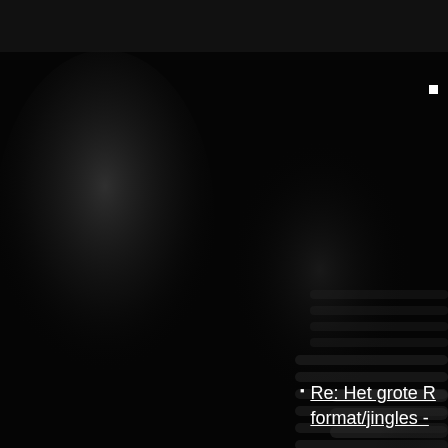[Figure (photo): Dark, mostly black photograph of what appears to be a microphone or audio equipment. On the left side there is a blurry lighter shape, and on the right side there are horizontal ridged/slat patterns visible in dark gray. The image is very dark overall with minimal visible detail.]
Re: Het grote R format/jingles -